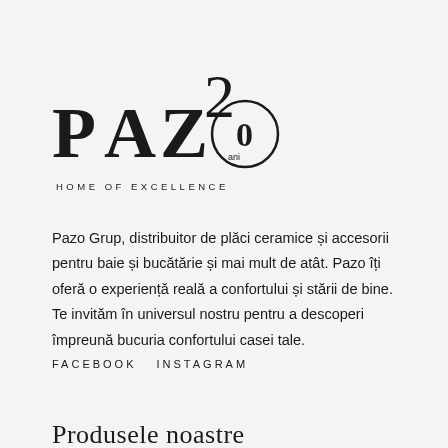[Figure (logo): PAZO 20 ani HOME OF EXCELLENCE logo with stylized letters and circle design]
Pazo Grup, distribuitor de plăci ceramice și accesorii pentru baie și bucătărie și mai mult de atât. Pazo îți oferă o experiență reală a confortului și stării de bine. Te invităm în universul nostru pentru a descoperi împreună bucuria confortului casei tale.
FACEBOOK  INSTAGRAM
Produsele noastre